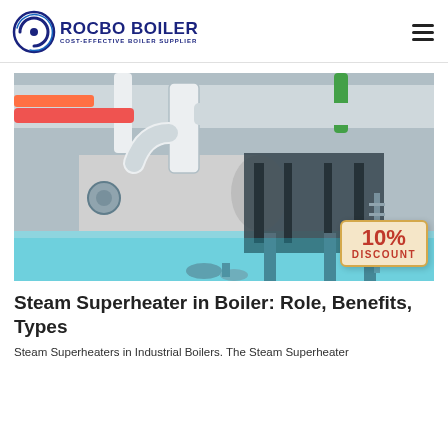ROCBO BOILER - COST-EFFECTIVE BOILER SUPPLIER
[Figure (photo): Industrial boiler room with large insulated pipes, a horizontal steam boiler in grey and blue, overhead red and orange piping, blue floor, and a 10% DISCOUNT badge in the lower right corner.]
Steam Superheater in Boiler: Role, Benefits, Types
Steam Superheaters in Industrial Boilers. The Steam Superheater